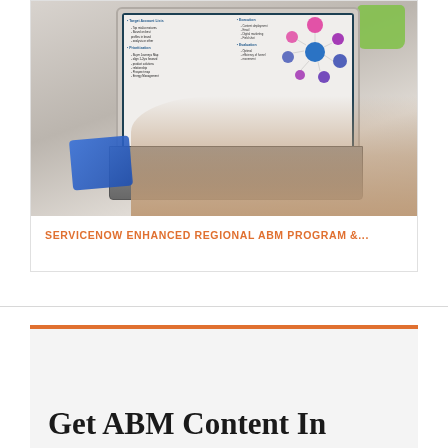[Figure (photo): Person typing on a laptop. The laptop screen shows a presentation with an ABM (Account-Based Marketing) cycle diagram with colored circles, and text sections including Target Account Lists, Prioritization, Execution, and Evaluation. A green mug is visible in the upper right corner, and a tablet is visible in the lower left. The scene is photographed from over-the-shoulder.]
SERVICENOW ENHANCED REGIONAL ABM PROGRAM &...
Get ABM Content In